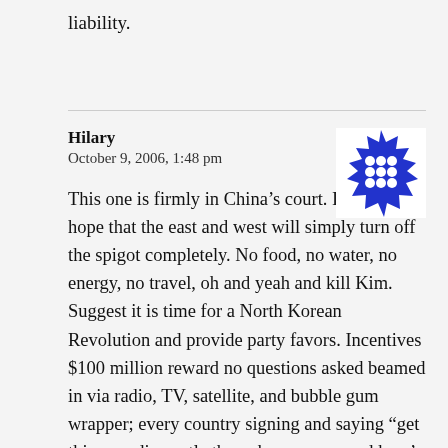liability.
Hilary
October 9, 2006, 1:48 pm
[Figure (illustration): Blue spiky circular avatar icon with white dots arranged in a grid pattern]
This one is firmly in China’s court. I would hope that the east and west will simply turn off the spigot completely. No food, no water, no energy, no travel, oh and yeah and kill Kim. Suggest it is time for a North Korean Revolution and provide party favors. Incentives $100 million reward no questions asked beamed in via radio, TV, satellite, and bubble gum wrapper; every country signing and saying “get this guy, dismantle the nuke program and here’s a chicken in every pot.” Could probably even save some money by sending them pigeons; after all